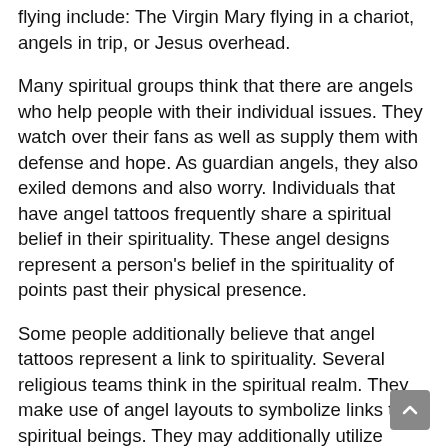flying include: The Virgin Mary flying in a chariot, angels in trip, or Jesus overhead.
Many spiritual groups think that there are angels who help people with their individual issues. They watch over their fans as well as supply them with defense and hope. As guardian angels, they also exiled demons and also worry. Individuals that have angel tattoos frequently share a spiritual belief in their spirituality. These angel designs represent a person's belief in the spirituality of points past their physical presence.
Some people additionally believe that angel tattoos represent a link to spirituality. Several religious teams think in the spiritual realm. They make use of angel layouts to symbolize links to spiritual beings. They may additionally utilize angel layouts to represent a belief in reincarnation, the suggestion that souls reincarnate into the world in the absence of a f